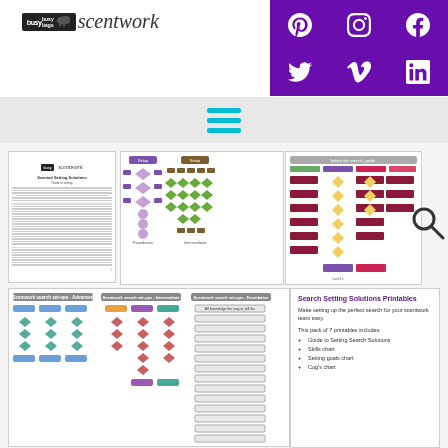[Figure (logo): busy-bags/scentwork logo with dog silhouette and cursive text]
[Figure (infographic): Social media icons grid (Pinterest, Instagram, Facebook, Twitter, Vimeo, LinkedIn) on purple background]
[Figure (infographic): Navigation hamburger menu icon in teal]
[Figure (flowchart): Scentwork search setup flowchart document thumbnail with text]
[Figure (flowchart): Scentwork search setup flowcharts - purple, brown, green decision trees]
[Figure (flowchart): Scentwork search setup flowcharts - Advanced, Intermediate, Foundation levels]
[Figure (flowchart): Scentwork search setup flowchart - yellow and maroon decision tree]
[Figure (infographic): Search icon magnifying glass]
Search Setting Solutions Printables
Make setting up the perfect search for your scentwork team easy.
This pack of 7 printables includes:
Guide to Setting Search Solutions
Skills chart
Setting goals chart
Cog's chart